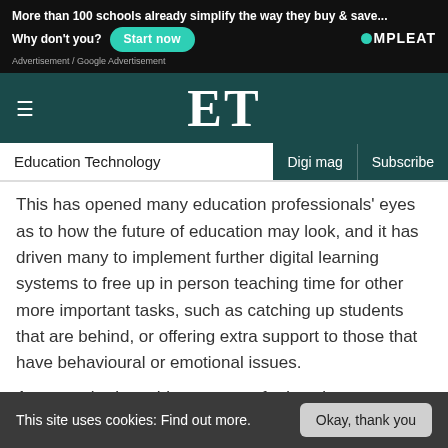[Figure (screenshot): Advertisement banner: 'More than 100 schools already simplify the way they buy & save... Why don't you? Start now' with COMPLEAT logo]
ET — Education Technology | Digi mag | Subscribe
This has opened many education professionals' eyes as to how the future of education may look, and it has driven many to implement further digital learning systems to free up in person teaching time for other more important tasks, such as catching up students that are behind, or offering extra support to those that have behavioural or emotional issues.
As we embark on this new age of education, we
This site uses cookies: Find out more.